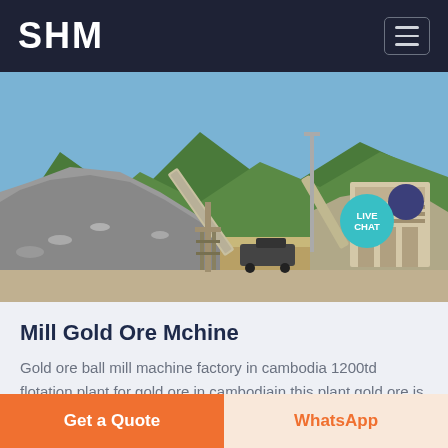SHM
[Figure (photo): Outdoor mining/quarry site with large piles of crushed rock/aggregate, industrial conveyor belts and processing equipment in the center and right, mountains and blue sky in the background.]
Mill Gold Ore Mchine
Gold ore ball mill machine factory in cambodia 1200td flotation plant for gold ore in cambodiain this plant gold ore is mainly natural gold...
Get a Quote
WhatsApp